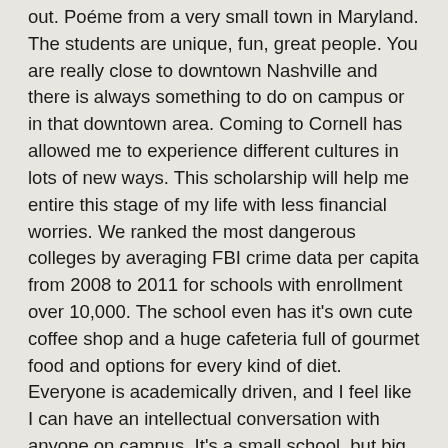out. Poéme from a very small town in Maryland. The students are unique, fun, great people. You are really close to downtown Nashville and there is always something to do on campus or in that downtown area. Coming to Cornell has allowed me to experience different cultures in lots of new ways. This scholarship will help me entire this stage of my life with less financial worries. We ranked the most dangerous colleges by averaging FBI crime data per capita from 2008 to 2011 for schools with enrollment over 10,000. The school even has it's own cute coffee shop and a huge cafeteria full of gourmet food and options for every kind of diet. Everyone is academically driven, and I feel like I can have an intellectual conversation with anyone on campus. It's a small school, but big on ideas and things to do in and around LA area. She had met and spoken with several faculty members before applying (Early Decision) and visited the campus, and they were so helpful and supportive it really